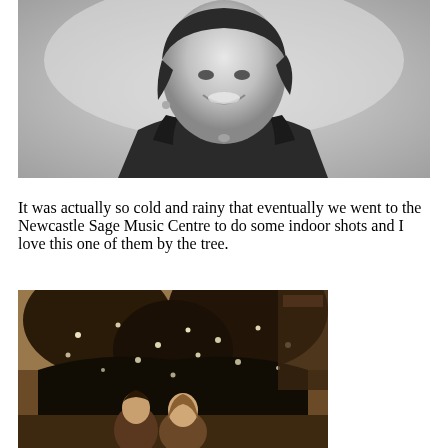[Figure (photo): Black and white portrait photo of a smiling woman with short dark hair, wearing a dark sleeveless top with decorative trim, cropped at the shoulders/upper chest.]
It was actually so cold and rainy that eventually we went to the Newcastle Sage Music Centre to do some indoor shots and I love this one of them by the tree.
[Figure (photo): Sepia-toned photo of two women standing in front of a large decorated Christmas tree with fairy lights, taken indoors at the Newcastle Sage Music Centre.]